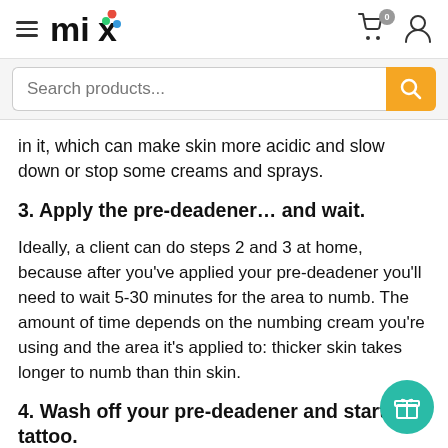mix — Search products...
in it, which can make skin more acidic and slow down or stop some creams and sprays.
3. Apply the pre-deadener… and wait.
Ideally, a client can do steps 2 and 3 at home, because after you've applied your pre-deadener you'll need to wait 5-30 minutes for the area to numb. The amount of time depends on the numbing cream you're using and the area it's applied to: thicker skin takes longer to numb than thin skin.
4. Wash off your pre-deadener and start the tattoo.